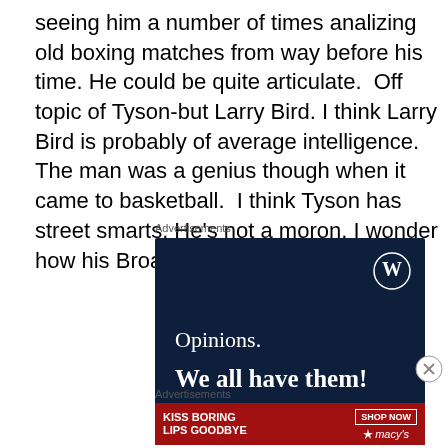seeing him a number of times analizing old boxing matches from way before his time. He could be quite articulate.  Off topic of Tyson-but Larry Bird. I think Larry Bird is probably of average intelligence. The man was a genius though when it came to basketball.  I think Tyson has street smarts. He's not a moron. I wonder how his Broadway play will turn out.
Advertisements
[Figure (illustration): WordPress advertisement with dark navy background, WordPress logo in top right, text 'Opinions. We all have them!']
Advertisements
[Figure (illustration): Macy's advertisement: 'KISS BORING LIPS GOODBYE' with SHOP NOW button and Macy's star logo on red background]